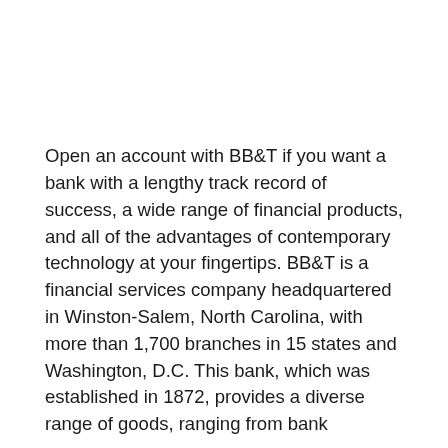Open an account with BB&T if you want a bank with a lengthy track record of success, a wide range of financial products, and all of the advantages of contemporary technology at your fingertips. BB&T is a financial services company headquartered in Winston-Salem, North Carolina, with more than 1,700 branches in 15 states and Washington, D.C. This bank, which was established in 1872, provides a diverse range of goods, ranging from bank